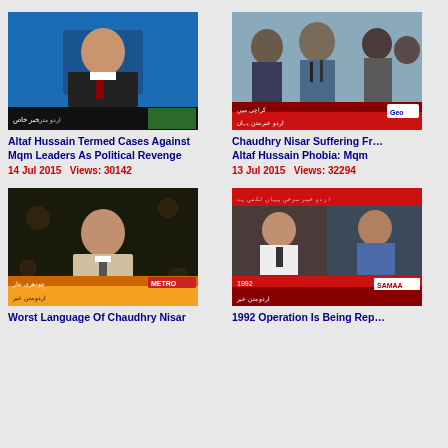[Figure (photo): TV screenshot of Altaf Hussain speaking at podium with blue background and news ticker at bottom]
Altaf Hussain Termed Cases Against Mqm Leaders As Political Revenge
14 Jul 2015   Views: 30142
[Figure (photo): TV screenshot of Chaudhry Nisar speaking at press conference with people around him]
Chaudhry Nisar Suffering From Altaf Hussain Phobia: Mqm
13 Jul 2015   Views: 32294
[Figure (photo): TV screenshot of man in light suit speaking, METRO news lower third visible]
Worst Language Of Chaudhry Nisar
[Figure (photo): TV screenshot split screen showing two men, 1992 text visible on SAMAA news ticker]
1992 Operation Is Being Rep